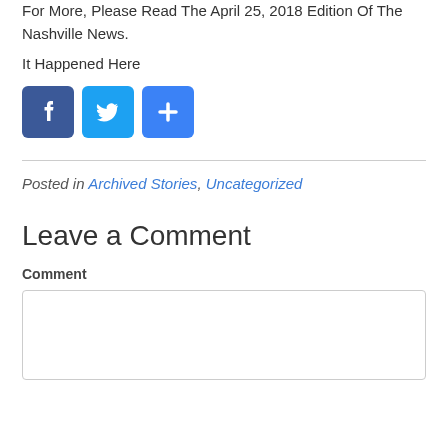For More, Please Read The April 25, 2018 Edition Of The Nashville News.
It Happened Here
[Figure (other): Social share buttons: Facebook, Twitter, and a generic share button (blue squares with white icons)]
Posted in Archived Stories, Uncategorized
Leave a Comment
Comment
[Figure (other): Empty comment text area input box]